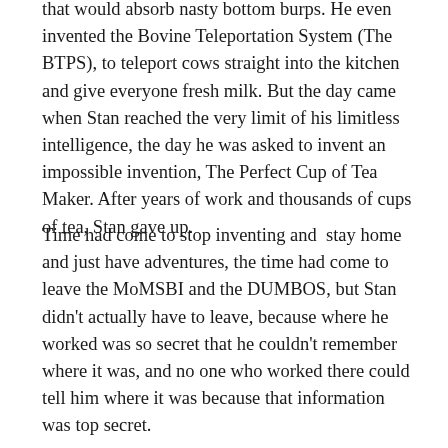that would absorb nasty bottom burps. He even invented the Bovine Teleportation System (The BTPS), to teleport cows straight into the kitchen and give everyone fresh milk. But the day came when Stan reached the very limit of his limitless intelligence, the day he was asked to invent an impossible invention, The Perfect Cup of Tea Maker. After years of work and thousands of cups of tea, Stan gave up.
Time had come to stop inventing and  stay home and just have adventures, the time had come to leave the MoMSBI and the DUMBOS, but Stan didn't actually have to leave, because where he worked was so secret that he couldn't remember where it was, and no one who worked there could tell him where it was because that information was top secret.